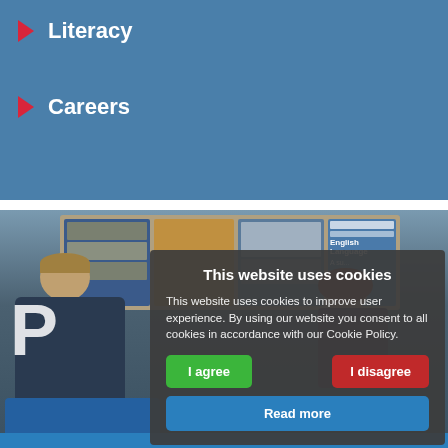Literacy
Careers
[Figure (photo): Two students (a boy in school uniform and a girl) sitting in a school reception/common area with bulletin boards visible in the background. Blue seating visible. Cookie consent modal overlaid on top.]
This website uses cookies
This website uses cookies to improve user experience. By using our website you consent to all cookies in accordance with our Cookie Policy.